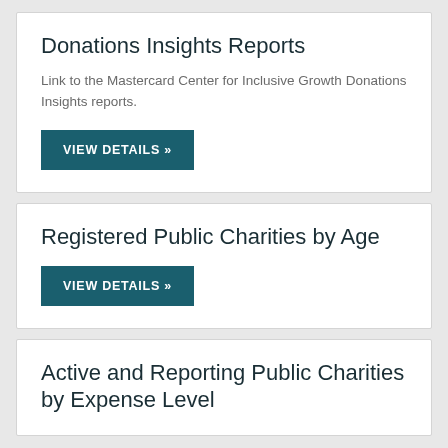Donations Insights Reports
Link to the Mastercard Center for Inclusive Growth Donations Insights reports.
VIEW DETAILS »
Registered Public Charities by Age
VIEW DETAILS »
Active and Reporting Public Charities by Expense Level